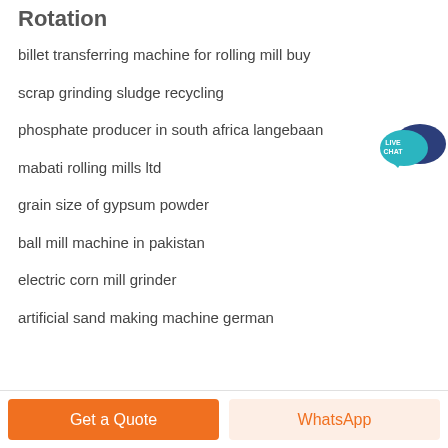Rotation
billet transferring machine for rolling mill buy
scrap grinding sludge recycling
[Figure (illustration): Live Chat speech bubble icon with dark navy and teal colors, text 'LIVE CHAT']
phosphate producer in south africa langebaan
mabati rolling mills ltd
grain size of gypsum powder
ball mill machine in pakistan
electric corn mill grinder
artificial sand making machine german
Get a Quote
WhatsApp